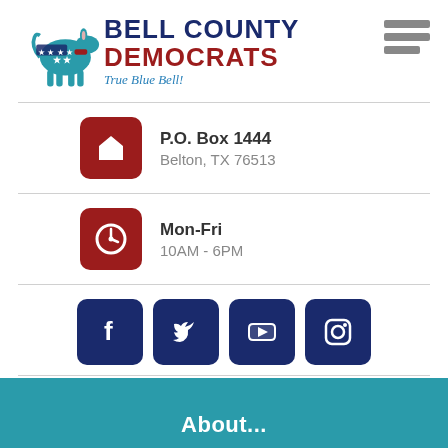[Figure (logo): Bell County Democrats logo with teal donkey, red stars, and text 'BELL COUNTY DEMOCRATS True Blue Bell!']
P.O. Box 1444
Belton, TX 76513
Mon-Fri
10AM - 6PM
[Figure (infographic): Social media icons: Facebook, Twitter, YouTube, Instagram]
(254) 563-2417
About...